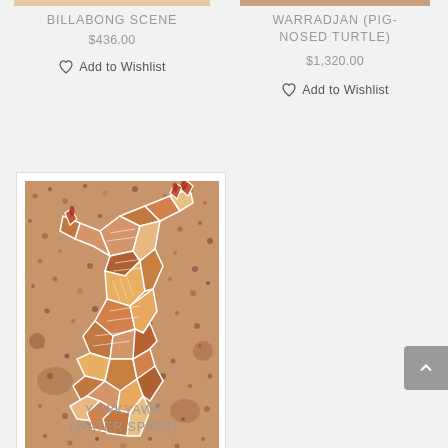BILLABONG SCENE
$436.00
Add to Wishlist
WARRADJAN (PIG-NOSED TURTLE)
$1,320.00
Add to Wishlist
[Figure (illustration): Aboriginal artwork showing Yawkyawk (Water Spirit) - a mosaic-style painting of a water spirit figure with geometric patterns in earth tones of orange, red, brown and white on a speckled background]
YAWKYAWK
(WATER SPIRIT)